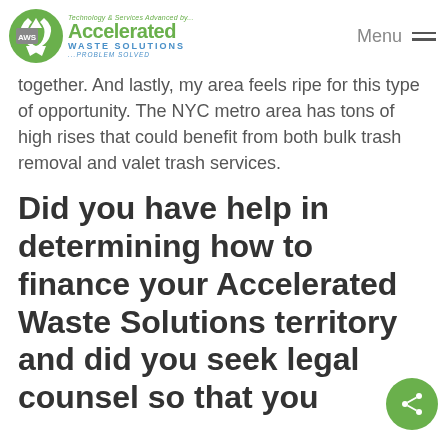Accelerated Waste Solutions — Menu
together. And lastly, my area feels ripe for this type of opportunity. The NYC metro area has tons of high rises that could benefit from both bulk trash removal and valet trash services.
Did you have help in determining how to finance your Accelerated Waste Solutions territory and did you seek legal counsel so that you